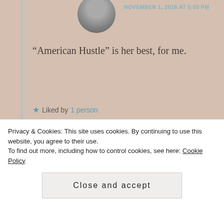NOVEMBER 1, 2016 AT 5:59 PM
“American Hustle” is her best, for me.
★ Liked by 1 person
vinnieh
NOVEMBER 1, 2016 AT 6:00 PM
I really liked her in that. But then again, when she ever been bad in a movie? I can’t
Privacy & Cookies: This site uses cookies. By continuing to use this website, you agree to their use.
To find out more, including how to control cookies, see here: Cookie Policy
Close and accept